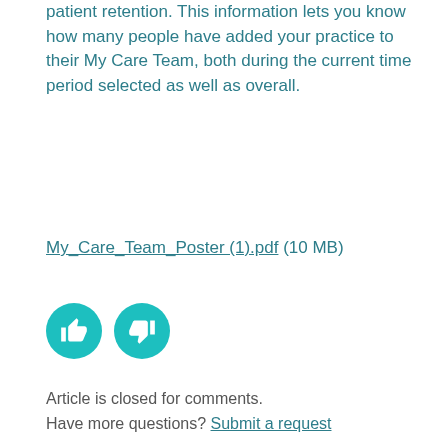patient retention. This information lets you know how many people have added your practice to their My Care Team, both during the current time period selected as well as overall.
My_Care_Team_Poster (1).pdf (10 MB)
[Figure (other): Two teal circular buttons: a thumbs-up button and a thumbs-down button]
Article is closed for comments.
Have more questions? Submit a request